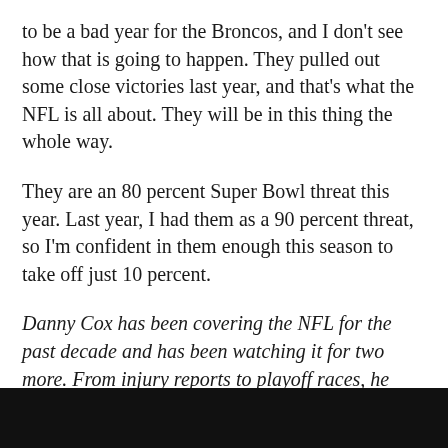to be a bad year for the Broncos, and I don't see how that is going to happen. They pulled out some close victories last year, and that's what the NFL is all about. They will be in this thing the whole way.
They are an 80 percent Super Bowl threat this year. Last year, I had them as a 90 percent threat, so I'm confident in them enough this season to take off just 10 percent.
Danny Cox has been covering the NFL for the past decade and has been watching it for two more. From injury reports to playoff races, he follows every single team and longs for the months of July to February.